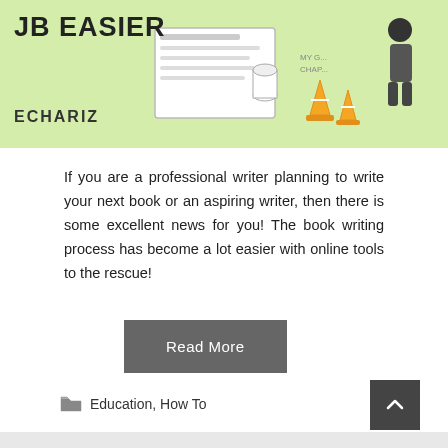[Figure (illustration): Banner illustration showing a book/document with text 'JOB EASIER' and 'ECHARIZ' on a green background, with a figure, traffic cones, and scroll/document graphics on the right side.]
If you are a professional writer planning to write your next book or an aspiring writer, then there is some excellent news for you! The book writing process has become a lot easier with online tools to the rescue!
Read More
Education, How To